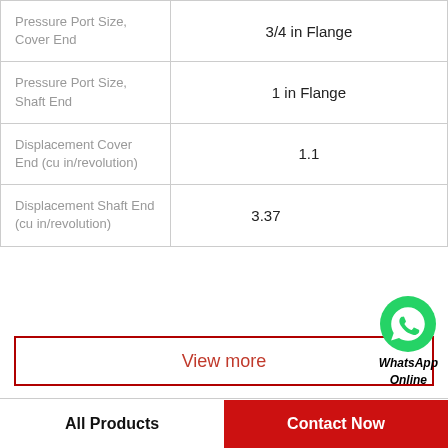| Parameter | Value |
| --- | --- |
| Pressure Port Size, Cover End | 3/4 in Flange |
| Pressure Port Size, Shaft End | 1 in Flange |
| Displacement Cover End (cu in/revolution) | 1.1 |
| Displacement Shaft End (cu in/revolution) | 3.37 |
[Figure (logo): WhatsApp Online green circle icon with phone handset, labeled 'WhatsApp Online']
View more
Company Profile
All Products | Contact Now